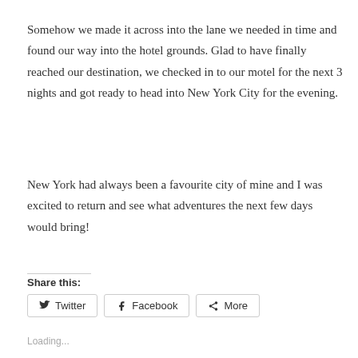Somehow we made it across into the lane we needed in time and found our way into the hotel grounds. Glad to have finally reached our destination, we checked in to our motel for the next 3 nights and got ready to head into New York City for the evening.
New York had always been a favourite city of mine and I was excited to return and see what adventures the next few days would bring!
Share this:
Twitter  Facebook  More
Loading...